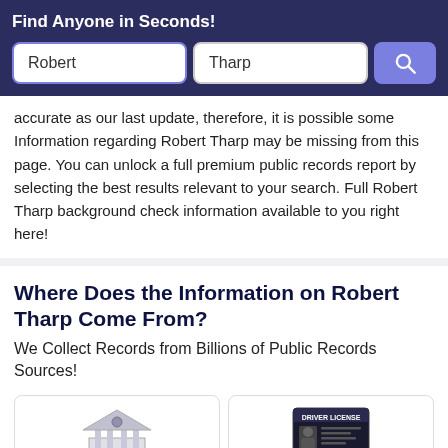Find Anyone in Seconds!
accurate as our last update, therefore, it is possible some Information regarding Robert Tharp may be missing from this page. You can unlock a full premium public records report by selecting the best results relevant to your search. Full Robert Tharp background check information available to you right here!
Where Does the Information on Robert Tharp Come From?
We Collect Records from Billions of Public Records Sources!
[Figure (illustration): Two icon cards at bottom: left shows a courthouse/government building illustration; right shows a driver license card illustration with 'DRIVER LICENSE' text.]